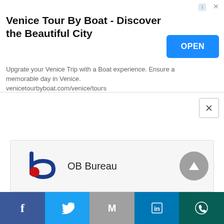[Figure (screenshot): Advertisement banner for Venice Tour By Boat with title, description, and OPEN button]
Venice Tour By Boat - Discover the Beautiful City
Upgrate your Venice Trip with a Boat experience. Ensure a memorable day in Venice. venicetourbyboat.com/venice/tours
[Figure (screenshot): OB Bureau author card with logo and upvote arrow button]
[Figure (screenshot): Social share bar with Facebook, Twitter, Gmail, LinkedIn, WhatsApp buttons]